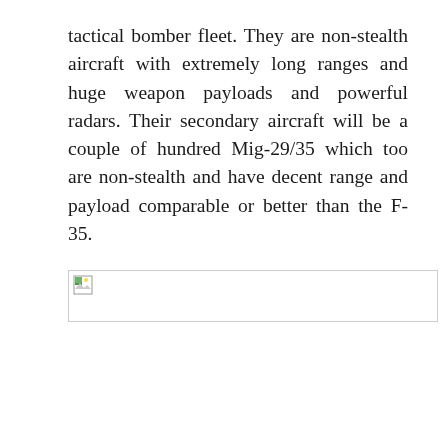tactical bomber fleet. They are non-stealth aircraft with extremely long ranges and huge weapon payloads and powerful radars. Their secondary aircraft will be a couple of hundred Mig-29/35 which too are non-stealth and have decent range and payload comparable or better than the F-35.
[Figure (photo): Broken image placeholder (image failed to load), shown as a small broken image icon inside a bordered rectangle.]